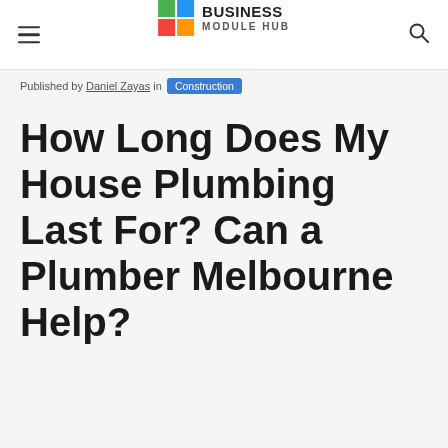Business Module Hub
Published by Daniel Zayas in Construction
How Long Does My House Plumbing Last For? Can a Plumber Melbourne Help?